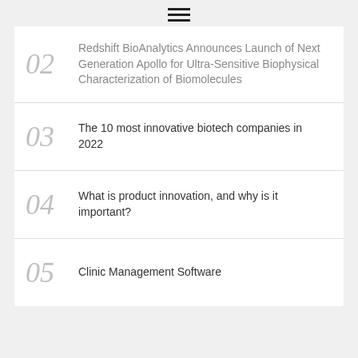[Figure (other): Hamburger menu icon with three horizontal lines]
02 Redshift BioAnalytics Announces Launch of Next Generation Apollo for Ultra-Sensitive Biophysical Characterization of Biomolecules
03 The 10 most innovative biotech companies in 2022
04 What is product innovation, and why is it important?
05 Clinic Management Software